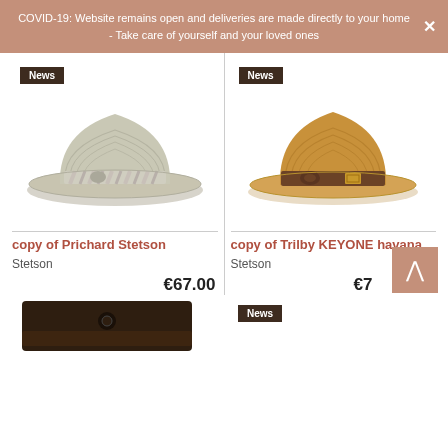COVID-19: Website remains open and deliveries are made directly to your home - Take care of yourself and your loved ones
[Figure (photo): Gray woven straw trilby hat with striped band, News badge top-left]
[Figure (photo): Tan woven straw trilby hat with brown leather band and gold buckle, News badge top-left]
copy of Prichard Stetson
copy of Trilby KEYONE havana
Stetson
Stetson
€67.00
€79...
[Figure (photo): Dark brown leather hat brim bottom portion visible]
[Figure (photo): News badge visible, partial hat image]